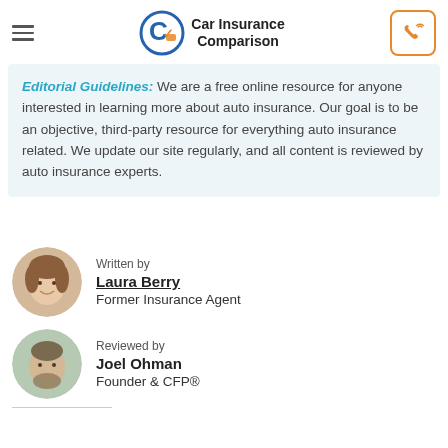Car Insurance Comparison
Editorial Guidelines: We are a free online resource for anyone interested in learning more about auto insurance. Our goal is to be an objective, third-party resource for everything auto insurance related. We update our site regularly, and all content is reviewed by auto insurance experts.
Written by
Laura Berry
Former Insurance Agent
Reviewed by
Joel Ohman
Founder & CFP®